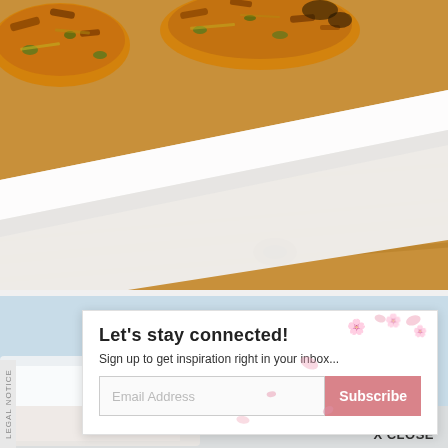[Figure (photo): Close-up photo of fried zucchini fritters on a white plate placed on a wooden surface. The fritters are golden-brown and crispy on the outside.]
[Figure (photo): Second food photo partially visible behind popup overlay, showing a light blue background with white plate.]
Let's stay connected!
Sign up to get inspiration right in your inbox...
Email Address
Subscribe
X CLOSE
LEGAL NOTICE